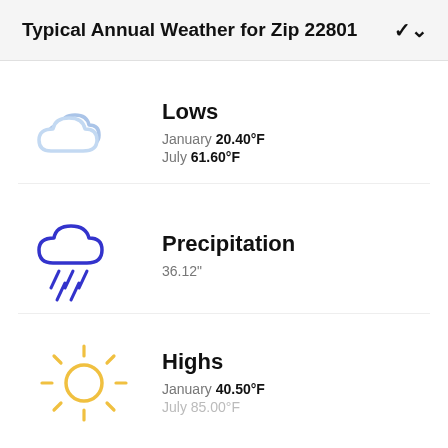Typical Annual Weather for Zip 22801
Lows
January 20.40°F
July 61.60°F
[Figure (illustration): Light blue cloud icon representing low temperatures]
Precipitation
36.12"
[Figure (illustration): Blue rain cloud with rain drops icon representing precipitation]
Highs
January 40.50°F
[Figure (illustration): Yellow sun icon representing high temperatures]